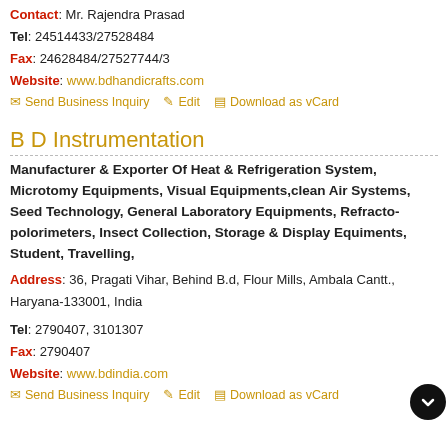Contact: Mr. Rajendra Prasad
Tel: 24514433/27528484
Fax: 24628484/27527744/3
Website: www.bdhandicrafts.com
Send Business Inquiry   Edit   Download as vCard
B D Instrumentation
Manufacturer & Exporter Of Heat & Refrigeration System, Microtomy Equipments, Visual Equipments,clean Air Systems, Seed Technology, General Laboratory Equipments, Refracto-polorimeters, Insect Collection, Storage & Display Equiments, Student, Travelling,
Address: 36, Pragati Vihar, Behind B.d, Flour Mills, Ambala Cantt., Haryana-133001, India
Tel: 2790407, 3101307
Fax: 2790407
Website: www.bdindia.com
Send Business Inquiry   Edit   Download as vCard